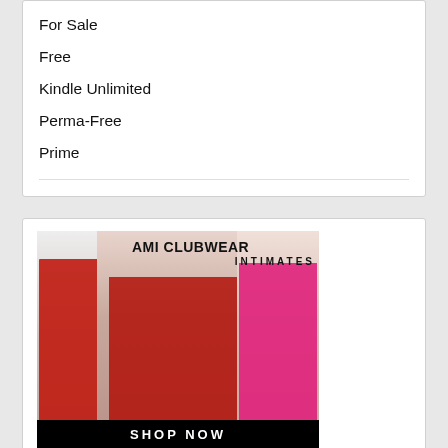For Sale
Free
Kindle Unlimited
Perma-Free
Prime
[Figure (photo): AMI Clubwear Intimates advertisement showing three women in red and pink lingerie with a SHOP NOW banner at the bottom]